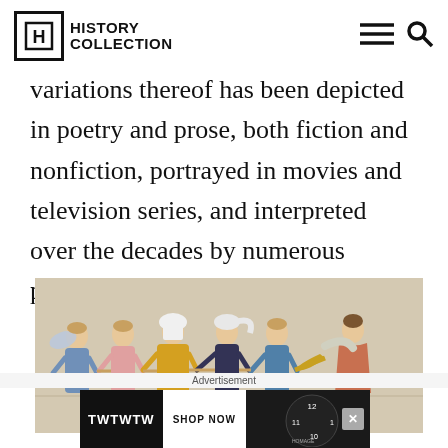History Collection
variations thereof has been depicted in poetry and prose, both fiction and nonfiction, portrayed in movies and television series, and interpreted over the decades by numerous philosophers and artists.
[Figure (illustration): Medieval manuscript illustration showing six female figures in colorful period costumes (blue, pink, yellow, black, blue) holding hands in a line, with a winged figure on the left and a figure playing a horn on the right, on a light background.]
Advertisement
[Figure (screenshot): Advertisement banner showing 'TWTWTW SHOP NOW' text on dark background with a speedometer/watch image on the right, and a close button (X) in the top right corner. Brand: HOMAGE.]